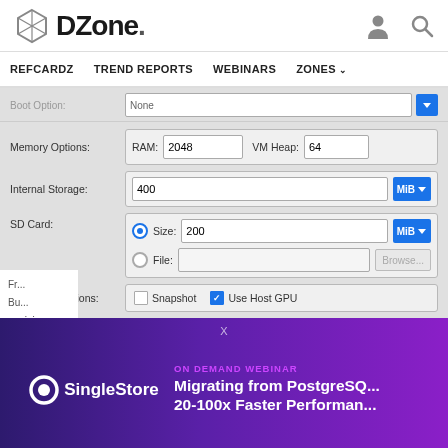DZone
REFCARDZ  TREND REPORTS  WEBINARS  ZONES
[Figure (screenshot): Android Virtual Device (AVD) configuration form showing options for Boot Option (None), Memory Options (RAM: 2048, VM Heap: 64), Internal Storage (400 MiB), SD Card (Size: 200 MiB / File: Browse), Emulation Options (Snapshot unchecked, Use Host GPU checked), Override the existing AVD with the same name checkbox.]
[Figure (screenshot): Advertisement banner: SingleStore ON DEMAND WEBINAR - Migrating from PostgreSQL, 20-100x Faster Performance]
a minimum.